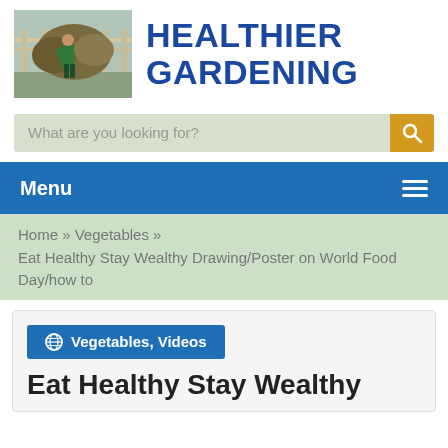[Figure (photo): Person gardening outdoors near a fence with bushes]
HEALTHIER GARDENING
What are you looking for?
Menu
Home » Vegetables » Eat Healthy Stay Wealthy Drawing/Poster on World Food Day/how to
🌐 Vegetables, Videos
Eat Healthy Stay Wealthy